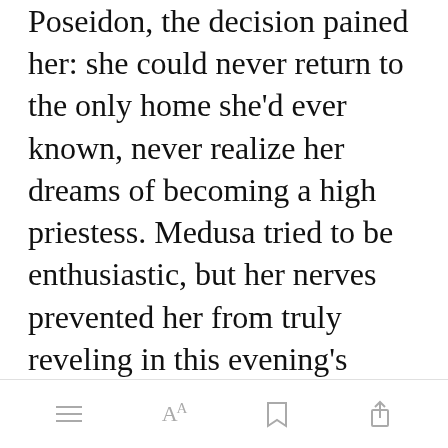Poseidon, the decision pained her: she could never return to the only home she'd ever known, never realize her dreams of becoming a high priestess. Medusa tried to be enthusiastic, but her nerves prevented her from truly reveling in this evening's many joys.
The door to her room flew open, startling Medu[Open in app]her somber thoughts. She was barely able to…
[Figure (screenshot): Mobile app bottom navigation bar with hamburger menu, Aa font size, bookmark, and share icons]